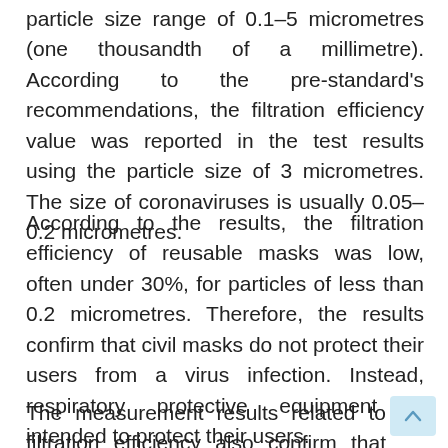particle size range of 0.1–5 micrometres (one thousandth of a millimetre). According to the pre-standard's recommendations, the filtration efficiency value was reported in the test results using the particle size of 3 micrometres. The size of coronaviruses is usually 0.05–0.2 micrometres.
According to the results, the filtration efficiency of reusable masks was low, often under 30%, for particles of less than 0.2 micrometres. Therefore, the results confirm that civil masks do not protect their users from a virus infection. Instead, respiratory protective equipment is intended to protect their users.
The measurement results related to filtration efficiency also confirm that civil masks may reduce